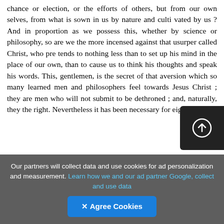chance or election, or the efforts of others, but from our own selves, from what is sown in us by nature and culti vated by us ? And in proportion as we possess this, whether by science or philosophy, so are we the more incensed against that usurper called Christ, who pre tends to nothing less than to set up his mind in the place of our own, than to cause us to think his thoughts and speak his words. This, gentlemen, is the secret of that aversion which so many learned men and philosophers feel towards Jesus Christ ; they are men who will not submit to be dethroned ; and, naturally, they the right. Nevertheless it has been necessary for eighteen
Our partners will collect data and use cookies for ad personalization and measurement. Learn how we and our ad partner Google, collect and use data